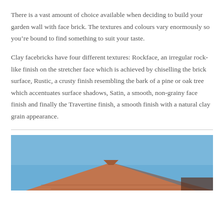There is a vast amount of choice available when deciding to build your garden wall with face brick. The textures and colours vary enormously so you’re bound to find something to suit your taste.
Clay facebricks have four different textures: Rockface, an irregular rock-like finish on the stretcher face which is achieved by chiselling the brick surface, Rustic, a crusty finish resembling the bark of a pine or oak tree which accentuates surface shadows, Satin, a smooth, non-grainy face finish and finally the Travertine finish, a smooth finish with a natural clay grain appearance.
[Figure (photo): Photo of a brick roof structure against a blue sky, showing terracotta/reddish-brown clay bricks at an angle.]